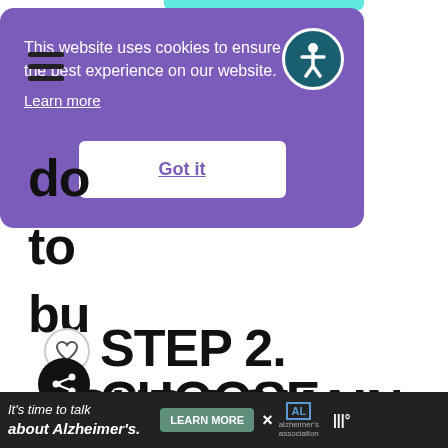[Figure (screenshot): Cookie consent modal overlay on a website. Purple background modal with text 'This website uses cookies to ensure you get the best experience on our website.' with a 'Learn more' link, a 'Got it' button, and an accessibility icon (person in circle). Behind the modal, partially visible bold text 'do', 'to', 'bu' from a heading, and hamburger menu icon. At the bottom is an ad banner for Alzheimer's awareness.]
This website uses cookies to ensure you get the best experience on our website.
Learn more
Got it
STEP 2. CHOOSE YOUR DOMAIN NAME
It's time to talk about Alzheimer's.
LEARN MORE